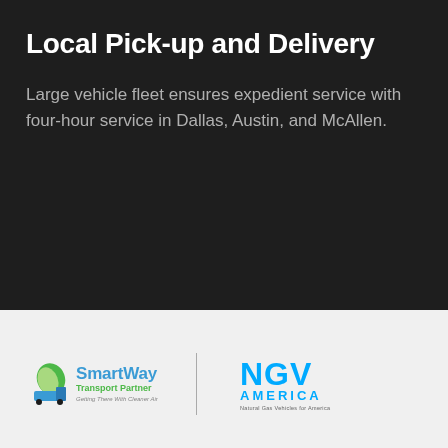Local Pick-up and Delivery
Large vehicle fleet ensures expedient service with four-hour service in Dallas, Austin, and McAllen.
[Figure (logo): SmartWay Transport Partner - Getting There With Cleaner Air logo with leaf/truck icon in blue and green]
[Figure (logo): NGV America - Natural Gas Vehicles for America logo in blue]